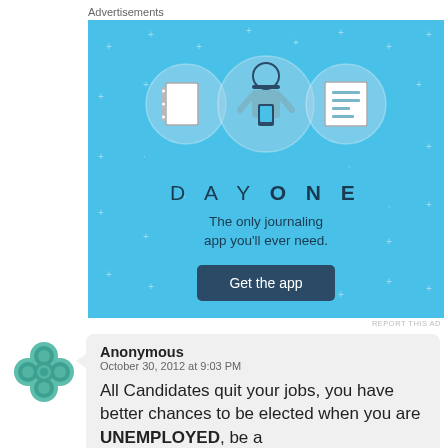Advertisements
[Figure (illustration): Day One journaling app advertisement with light blue background, showing a person icon holding a phone flanked by a notebook icon and a list icon, with text 'DAY ONE', 'The only journaling app you'll ever need.' and a 'Get the app' button.]
REPORT THIS AD
Anonymous
October 30, 2012 at 9:03 PM

All Candidates quit your jobs, you have better chances to be elected when you are UNEMPLOYED, be a liar, announce phony and programs to
[Figure (logo): Teal/green cross-shaped ornamental avatar icon]